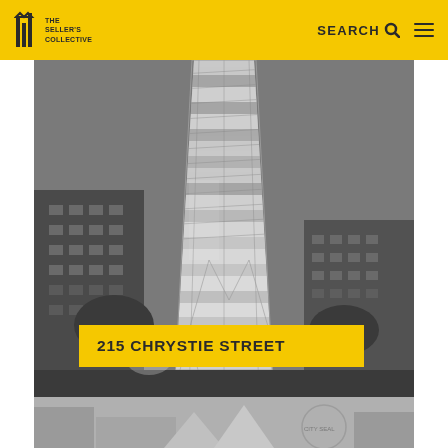THE SELLER'S COLLECTIVE — SEARCH — menu
[Figure (photo): Black and white photograph of a modern chevron-patterned glass skyscraper rising between lower urban buildings]
215 CHRYSTIE STREET
[Figure (photo): Partial grayscale photo of another building visible at the bottom of the page]